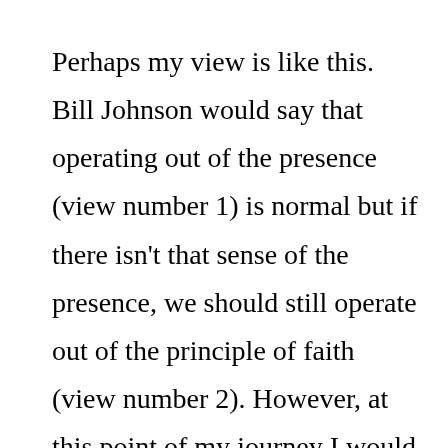Perhaps my view is like this. Bill Johnson would say that operating out of the presence (view number 1) is normal but if there isn't that sense of the presence, we should still operate out of the principle of faith (view number 2). However, at this point of my journey I would tend to see that operating out of the principle of faith (view number 2) as normal and if we happen to operate out of the presence and direct leading of the Spirit (view number 1) that would be wonderful but it...